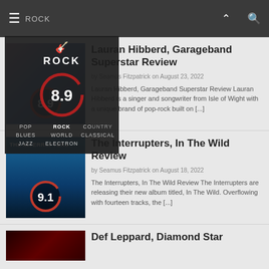ROCK
[Figure (screenshot): Dropdown menu overlay showing ROCK genre with score 8.9 and genre categories: POP, ROCK, COUNTRY, BLUES, WORLD, CLASSICAL, JAZZ, ELECTRON]
Lauran Hibberd, Garageband Superstar Review
by Seamus Fitzpatrick on August 23, 2022
Lauran Hibberd, Garageband Superstar Review Lauran Hibberd is a singer and songwriter from Isle of Wight with a unique brand of pop-rock built on [...]
The Interrupters, In The Wild Review
by Seamus Fitzpatrick on August 18, 2022
The Interrupters, In The Wild Review The Interrupters are releasing their new album titled, In The Wild. Overflowing with fourteen tracks, the [...]
Def Leppard, Diamond Star